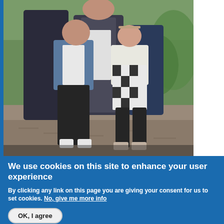[Figure (photo): Family photo showing an adult with two children standing on a gravel path outdoors. The older child is wearing a denim jacket and black pants, while the younger girl is wearing a black and white checkered dress with a white vest. Green trees are visible in the background.]
We use cookies on this site to enhance your user experience
By clicking any link on this page you are giving your consent for us to set cookies. No, give me more info
OK, I agree